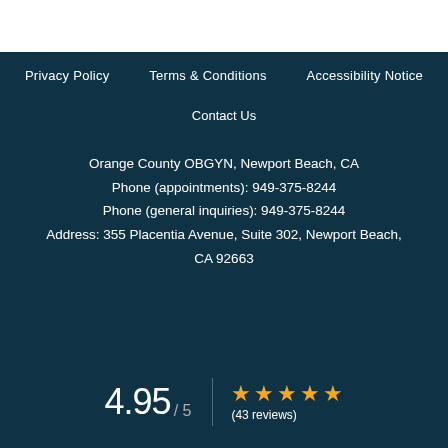Privacy Policy     Terms & Conditions     Accessibility Notice
Contact Us
Orange County OBGYN, Newport Beach, CA
Phone (appointments): 949-375-8244
Phone (general inquiries): 949-375-8244
Address: 355 Placentia Avenue, Suite 302, Newport Beach, CA 92663
4.95 / 5  ★★★★★  (43 reviews)